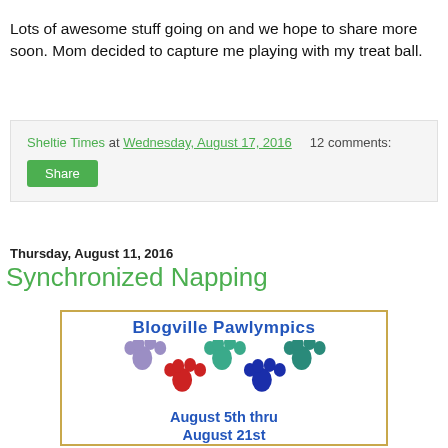Lots of awesome stuff going on and we hope to share more soon. Mom decided to capture me playing with my treat ball.
Sheltie Times at Wednesday, August 17, 2016   12 comments:
Share
Thursday, August 11, 2016
Synchronized Napping
[Figure (illustration): Blogville Pawlympics promotional image with colorful paw prints and text 'August 5th thru August 21st']